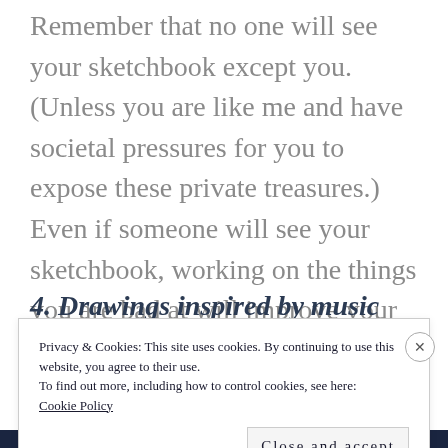Remember that no one will see your sketchbook except you. (Unless you are like me and have societal pressures for you to expose these private treasures.) Even if someone will see your sketchbook, working on the things you are bad at will improve your drawing skills.
4. Drawings inspired by music
Privacy & Cookies: This site uses cookies. By continuing to use this website, you agree to their use.
To find out more, including how to control cookies, see here: Cookie Policy